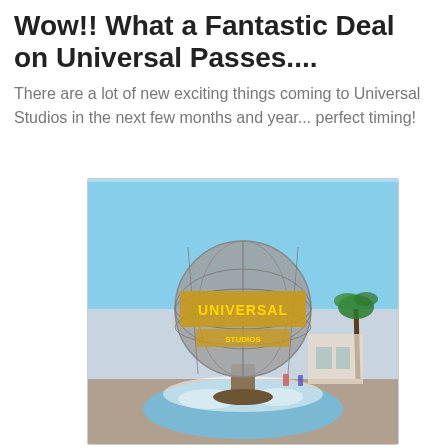Wow!! What a Fantastic Deal on Universal Passes....
There are a lot of new exciting things coming to Universal Studios in the next few months and year... perfect timing!
[Figure (photo): Universal Studios globe sculpture with gold lettering spelling UNIVERSAL, surrounded by fountain water mist, palm trees and park entrance visible in background, blue sky, photo taken at Universal Studios Hollywood or Orlando]